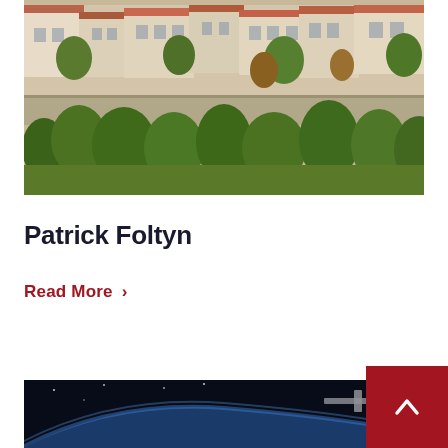[Figure (photo): Aerial view of an Italian hilltop town with terracotta-roofed buildings, stone wall, and lush green trees in the foreground]
Patrick Foltyn
Read More >
[Figure (photo): View from space showing Earth's curved horizon with blue atmosphere and a spacecraft or station element visible in the lower right corner]
[Figure (other): Red back-to-top button with white upward chevron arrow in bottom-right corner]